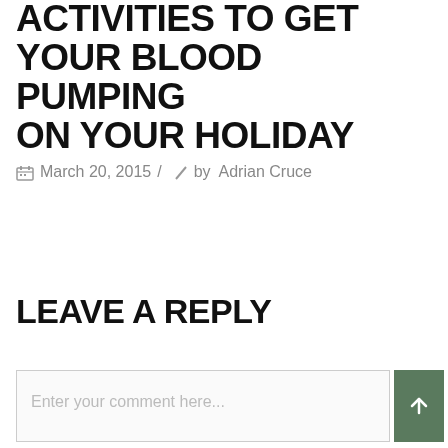ACTIVITIES TO GET YOUR BLOOD PUMPING ON YOUR HOLIDAY
March 20, 2015 / by Adrian Cruce
LEAVE A REPLY
Enter your comment here...